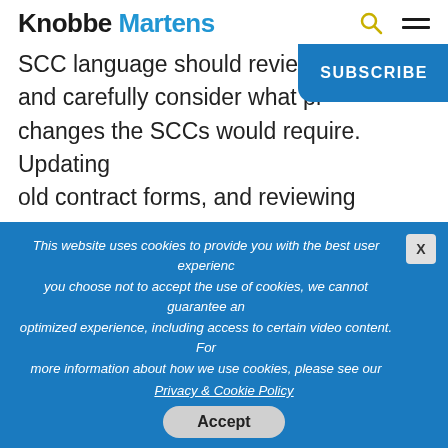Knobbe Martens
SCC language should review t and carefully consider what pr changes the SCCs would require. Updating old contract forms, and reviewing current contracts using old SCC language before the deadlines would be prudent for companies wishing to export data out of
SUBSCRIBE
This website uses cookies to provide you with the best user experience. If you choose not to accept the use of cookies, we cannot guarantee an optimized experience, including access to certain video content. For more information about how we use cookies, please see our Privacy & Cookie Policy
Accept